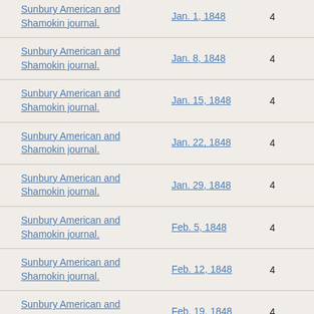| Title | Date | Pages |
| --- | --- | --- |
| Sunbury American and Shamokin journal. | Jan. 1, 1848 | 4 |
| Sunbury American and Shamokin journal. | Jan. 8, 1848 | 4 |
| Sunbury American and Shamokin journal. | Jan. 15, 1848 | 4 |
| Sunbury American and Shamokin journal. | Jan. 22, 1848 | 4 |
| Sunbury American and Shamokin journal. | Jan. 29, 1848 | 4 |
| Sunbury American and Shamokin journal. | Feb. 5, 1848 | 4 |
| Sunbury American and Shamokin journal. | Feb. 12, 1848 | 4 |
| Sunbury American and Shamokin journal. | Feb. 19, 1848 | 4 |